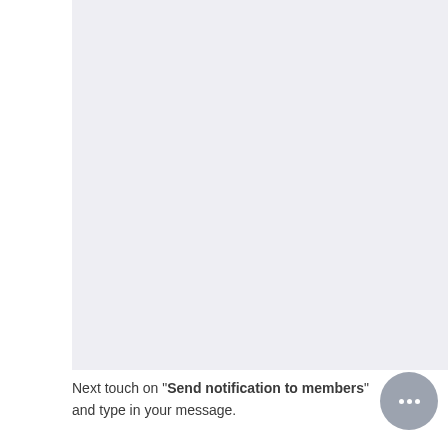[Figure (screenshot): A large light grayish-blue/lavender blank screenshot area occupying the upper portion of the page.]
Next touch on "Send notification to members" and type in your message.